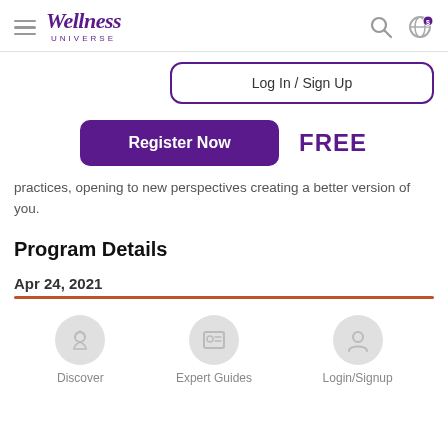Wellness Universe
Log In / Sign Up
Register Now  FREE
practices, opening to new perspectives creating a better version of you.
Program Details
Apr 24, 2021
[Figure (screenshot): Bottom navigation bar with icons for Discover, Expert Guides, and Login/Signup]